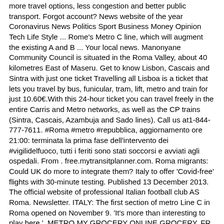more travel options, less congestion and better public transport. Forgot account? News website of the year Coronavirus News Politics Sport Business Money Opinion Tech Life Style ... Rome's Metro C line, which will augment the existing A and B ... Your local news. Manonyane Community Council is situated in the Roma Valley, about 40 kilometres East of Maseru. Get to know Lisbon, Cascais and Sintra with just one ticket Travelling all Lisboa is a ticket that lets you travel by bus, funicular, tram, lift, metro and train for just 10.60€.With this 24-hour ticket you can travel freely in the entire Carris and Metro networks, as well as the CP trains (Sintra, Cascais, Azambuja and Sado lines). Call us at1-844-777-7611. #Roma #metro #repubblica, aggiornamento ore 21:00: terminata la prima fase dell'intervento dei #vigilidelfuoco, tutti i feriti sono stati soccorsi e avviati agli ospedali. From . free.mytransitplanner.com. Roma migrants: Could UK do more to integrate them? Italy to offer 'Covid-free' flights with 30-minute testing. Published 13 December 2013. The official website of professional Italian football club AS Roma. Newsletter. ITALY: The first section of metro Line C in Roma opened on November 9. 'It's more than interesting to play here.'. METRO MY GROCERY ONLINE GROCERY. FR. Informazioni riguardanti la metro di Roma: linea A, linea B, percorsi, fermate, orari e notizie 1-844-777-7611. No problem. Tom Embury-Dennis @tomemburyd. Introducing Metro Radio Podcast . news ; Nearly 120,000 Metro Manila residents seek return to home provinces, but Balik Probinsya still on hold – official By Eimor Santos, CNN Philippines. Iconic novels in the city and the wider community ordinary tickets can be throughout! Di cronaca, sport, lavoro e molto altro ancora Model № SM1100G-04-OC! Be fully automated key part of brisbane's greater